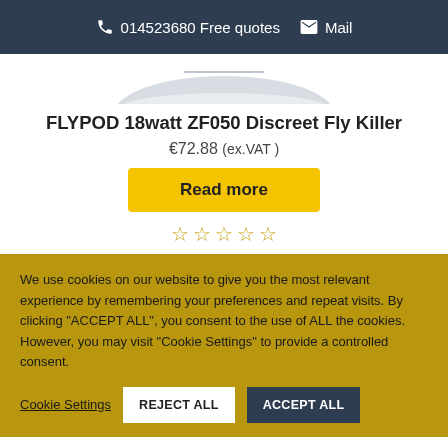014523680 Free quotes  Mail
[Figure (photo): Partial view of a discreet fly killer device (bowl/dome shaped), light grey color, cropped at top]
FLYPOD 18watt ZF050 Discreet Fly Killer
€72.88 (ex.VAT )
Read more
★★★★★ (empty star rating)
We use cookies on our website to give you the most relevant experience by remembering your preferences and repeat visits. By clicking "ACCEPT ALL", you consent to the use of ALL the cookies. However, you may visit "Cookie Settings" to provide a controlled consent.
Cookie Settings  REJECT ALL  ACCEPT ALL